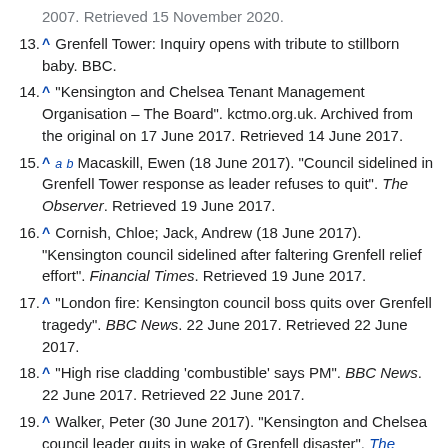[partial] 2007. Retrieved 15 November 2020.
13. ^ Grenfell Tower: Inquiry opens with tribute to stillborn baby. BBC.
14. ^ "Kensington and Chelsea Tenant Management Organisation – The Board". kctmo.org.uk. Archived from the original on 17 June 2017. Retrieved 14 June 2017.
15. ^ a b Macaskill, Ewen (18 June 2017). "Council sidelined in Grenfell Tower response as leader refuses to quit". The Observer. Retrieved 19 June 2017.
16. ^ Cornish, Chloe; Jack, Andrew (18 June 2017). "Kensington council sidelined after faltering Grenfell relief effort". Financial Times. Retrieved 19 June 2017.
17. ^ "London fire: Kensington council boss quits over Grenfell tragedy". BBC News. 22 June 2017. Retrieved 22 June 2017.
18. ^ "High rise cladding 'combustible' says PM". BBC News. 22 June 2017. Retrieved 22 June 2017.
19. ^ Walker, Peter (30 June 2017). "Kensington and Chelsea council leader quits in wake of Grenfell disaster". The Guardian. Retrieved 30 June 2017.
20. ^ "Grenfell Tower fire: New council leader heckled by public".